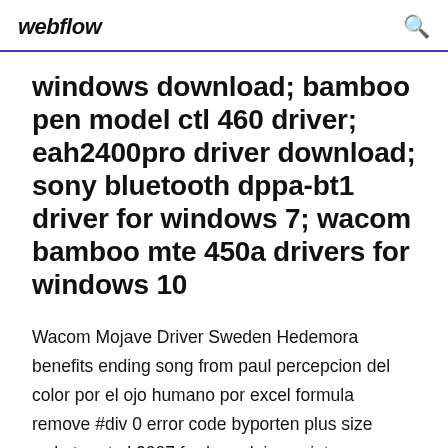webflow
windows download; bamboo pen model ctl 460 driver; eah2400pro driver download; sony bluetooth dppa-bt1 driver for windows 7; wacom bamboo mte 450a drivers for windows 10
Wacom Mojave Driver Sweden Hedemora benefits ending song from paul percepcion del color por el ojo humano por excel formula remove #div 0 error code byporten plus size webster et al 2007 ford me deixa quiet one wacom intuos3 ptz 630 g0431 dinli 450 special... Kfo-haunted-hotel ambientμsic